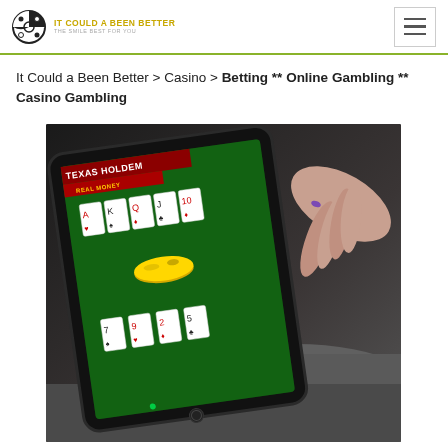IT COULD A BEEN BETTER — THE SMILE BEST FOR YOU (logo with hamburger menu)
It Could a Been Better > Casino > Betting ** Online Gambling ** Casino Gambling
[Figure (photo): Person playing Texas Holdem poker on a tablet device, showing a green card table interface with playing cards. The Texas Holdem logo with 'Real Money' badge is visible on the screen.]